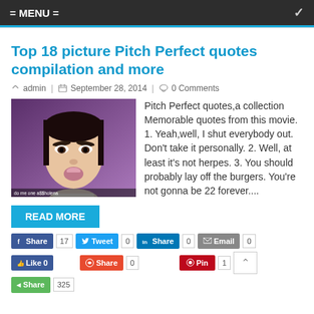= MENU =
Top 18 picture Pitch Perfect quotes compilation and more
admin | September 28, 2014 | 0 Comments
[Figure (photo): Still from Pitch Perfect movie showing a young Asian woman with an expressive face against a purple background]
Pitch Perfect quotes,a collection Memorable quotes from this movie. 1. Yeah,well, I shut everybody out. Don't take it personally. 2. Well, at least it's not herpes. 3. You should probably lay off the burgers. You're not gonna be 22 forever....
READ MORE
Share 17 | Tweet 0 | Share 0 | Email 0 | Like 0 | Share 0 | Pin 1 | Share 325